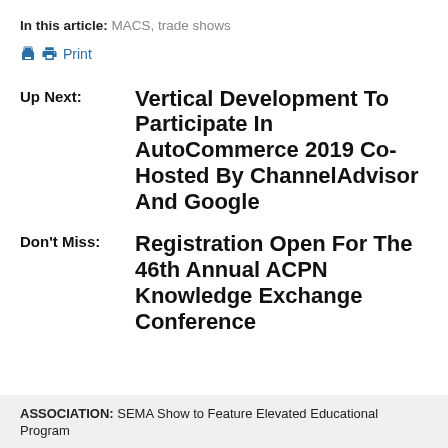In this article: MACS, trade shows
Print
Up Next: Vertical Development To Participate In AutoCommerce 2019 Co-Hosted By ChannelAdvisor And Google
Don't Miss: Registration Open For The 46th Annual ACPN Knowledge Exchange Conference
ASSOCIATION: SEMA Show to Feature Elevated Educational Program